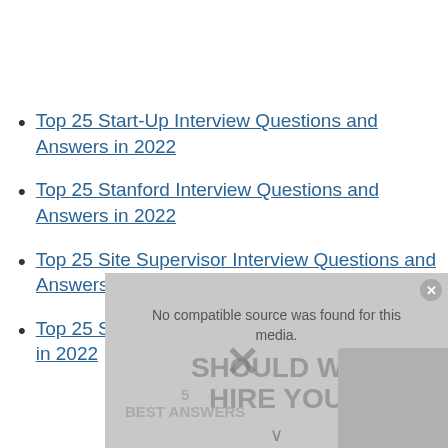Top 25 Start-Up Interview Questions and Answers in 2022
Top 25 Stanford Interview Questions and Answers in 2022
Top 25 Site Supervisor Interview Questions and Answers in 2022
Top 25 Scala Interview Questions and Answers in 2022
[Figure (screenshot): Video player overlay showing 'No compatible source was found for this media.' with background text 'SHOULD WE HIRE YOU' and '5 Best Answers' with a person's face visible. An X close button is in the top right.]